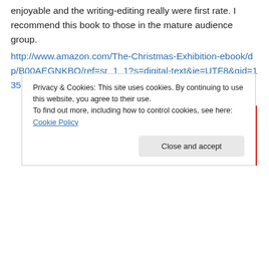enjoyable and the writing-editing really were first rate. I recommend this book to those in the mature audience group.
http://www.amazon.com/The-Christmas-Exhibition-ebook/dp/B00AEGNKBQ/ref=sr_1_1?s=digital-text&ie=UTF8&qid=1356896787&sr=1-1&keywords=the+christmas+exhibition
Advertisements
[Figure (other): Red advertisement banner showing a smartphone and text 'An app by listeners, for']
Privacy & Cookies: This site uses cookies. By continuing to use this website, you agree to their use.
To find out more, including how to control cookies, see here: Cookie Policy